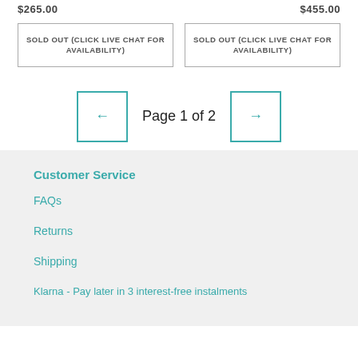$265.00
$455.00
SOLD OUT (CLICK LIVE CHAT FOR AVAILABILITY)
SOLD OUT (CLICK LIVE CHAT FOR AVAILABILITY)
Page 1 of 2
Customer Service
FAQs
Returns
Shipping
Klarna - Pay later in 3 interest-free instalments